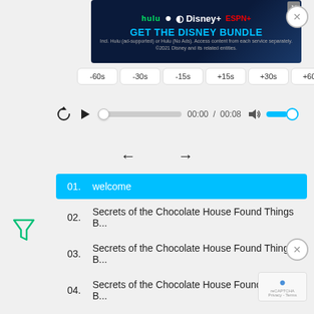[Figure (screenshot): Disney Bundle advertisement banner with Hulu, Disney+ and ESPN+ logos and 'GET THE DISNEY BUNDLE' call to action]
-60s
-30s
-15s
+15s
+30s
+60s
00:00 / 00:08
01.   welcome
02.   Secrets of the Chocolate House Found Things B...
03.   Secrets of the Chocolate House Found Things B...
04.   Secrets of the Chocolate House Found Things B...
05.   Secrets of the Chocolate House Found Things B...
06.   Secrets of the Chocolate House Found Things B...
07.   Secrets of the Chocolate House Found Things B...